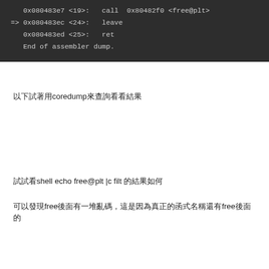[Figure (screenshot): Dark-themed code/assembler dump block showing memory addresses and assembly instructions including call to free@plt, leave, ret, and End of assembler dump.]
以下試著用coredump來查詢看看結果
試試看shell echo free@plt |c filt 的結果如何
可以發現free後面有一堆亂碼，這是因為真正的函式名稱還有free後面的